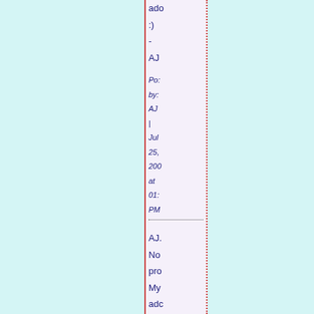ado
:)
-
AJ
Posted by: AJ | Jul 25, 200 at 01: PM
AJ.
No
pro
My
adc
is
ser
Posted by: Ser | Jul